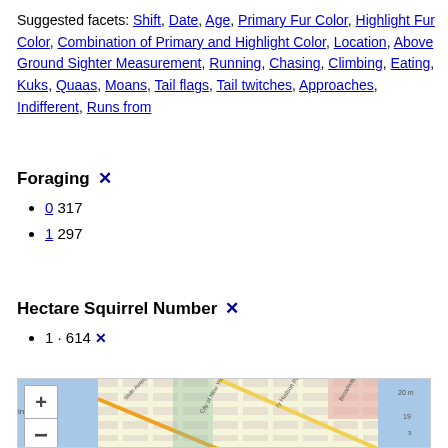Suggested facets: Shift, Date, Age, Primary Fur Color, Highlight Fur Color, Combination of Primary and Highlight Color, Location, Above Ground Sighter Measurement, Running, Chasing, Climbing, Eating, Kuks, Quaas, Moans, Tail flags, Tail twitches, Approaches, Indifferent, Runs from
Foraging ✕
0 317
1 297
Hectare Squirrel Number ✕
1 · 614 ✕
[Figure (map): Street map of New York City area showing roads, waterways, and city grid with zoom in (+) and zoom out (-) controls in upper left corner.]